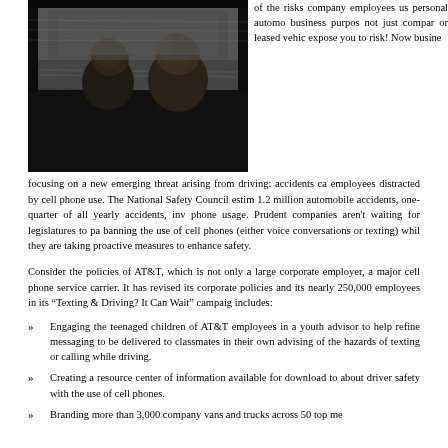[Figure (photo): Two people sitting in a car, viewed from the back seat, appearing to be driving at speed with motion blur visible outside the window.]
of the risks company employees us personal automo business purpos not just compar or leased vehic expose you to risk! Now busine focusing on a new emerging threat arising from driving: accidents ca employees distracted by cell phone use. The National Safety Council estim 1.2 million automobile accidents, one-quarter of all yearly accidents, inv phone usage. Prudent companies aren't waiting for legislatures to pa banning the use of cell phones (either voice conversations or texting) whil they are taking proactive measures to enhance safety.
Consider the policies of AT&T, which is not only a large corporate employer, a major cell phone service carrier. It has revised its corporate policies and its nearly 250,000 employees in its “Texting & Driving? It Can Wait” campaig includes:
Engaging the teenaged children of AT&T employees in a youth advisor to help refine messaging to be delivered to classmates in their own advising of the hazards of texting or calling while driving.
Creating a resource center of information available for download to about driver safety with the use of cell phones.
Branding more than 3,000 company vans and trucks across 50 top me